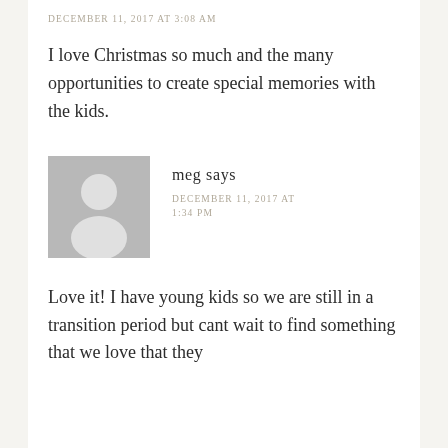DECEMBER 11, 2017 AT 3:08 AM
I love Christmas so much and the many opportunities to create special memories with the kids.
meg says
DECEMBER 11, 2017 AT 1:34 PM
[Figure (illustration): Generic user avatar placeholder: grey square with white silhouette of a person (circle head and rounded shoulders)]
Love it! I have young kids so we are still in a transition period but cant wait to find something that we love that they